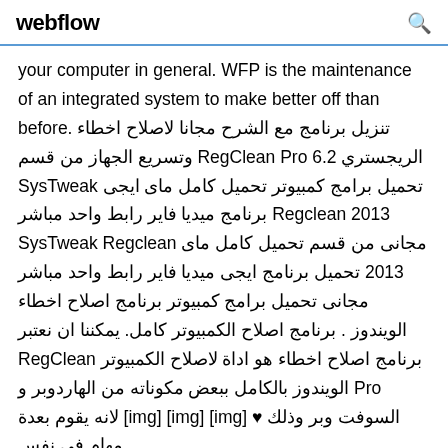webflow [search icon]
your computer in general. WFP is the maintenance of an integrated system to make better off than before. تنزيل برنامج مع الشرح مجانا لاصلاح اخطاء الريجستري RegClean Pro 6.2 وتسريع الجهاز من قسم تحميل برامج كمبيوتر تحميل كامل ماى ايجى SysTweak Regclean 2013 برنامج ميديا فاير رابط واحد مباشر مجانى من قسم تحميل كامل ماى SysTweak Regclean 2013 تحميل برنامج ايجى ميديا فاير رابط واحد مباشر مجانى تحميل برامج كمبيوتر برنامج اصلاح اخطاء الويندوز . برنامج اصلاح الكمبيوتر كامل. يمكننا ان نعتبر برنامج اصلاح اخطاء هو اداة لاصلاح الكمبيوتر RegClean Pro الويندوز بالكامل ببعض مكوناته من الهاردوبر و السوفت وبر وذلك ♥ [img] [img] [img] لانه يقوم بعدة مهام فى نفس الوقت ...